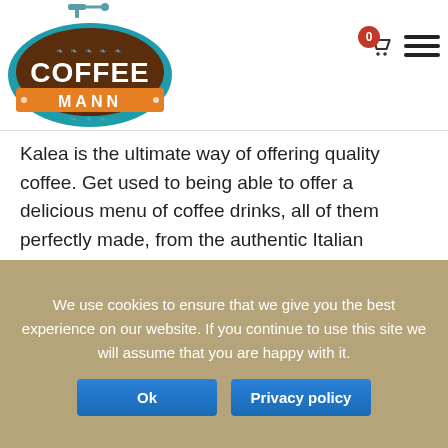[Figure (logo): Coffee Mann logo: oval teal/brown badge with coffee grinder on top, text 'COFFEE' in large white letters on brown background, 'MANN' on orange banner]
Kalea is the ultimate way of offering quality coffee. Get used to being able to offer a delicious menu of coffee drinks, all of them perfectly made, from the authentic Italian espresso to frothy cappuccino and latte macchiato, just to name a few. Kalea, from Necta: it's Italian quality coffee at your fingertips.
We use cookies to ensure that we give you the best experience on our website. If you continue to use this site we will assume that you are happy with it.